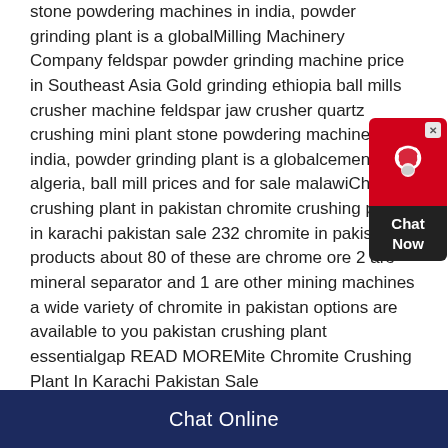stone powdering machines in india, powder grinding plant is a globalMilling Machinery Company feldspar powder grinding machine price in Southeast Asia Gold grinding ethiopia ball mills crusher machine feldspar jaw crusher quartz crushing mini plant stone powdering machines in india, powder grinding plant is a globalcement mills algeria, ball mill prices and for sale malawiChromite crushing plant in pakistan chromite crushing plant in karachi pakistan sale 232 chromite in pakistan products about 80 of these are chrome ore 2 are mineral separator and 1 are other mining machines a wide variety of chromite in pakistan options are available to you pakistan crushing plant essentialgap READ MOREMite Chromite Crushing Plant In Karachi Pakistan Sale
[Figure (other): Chat Now widget button with headphone icon in red and dark background]
Chat Online